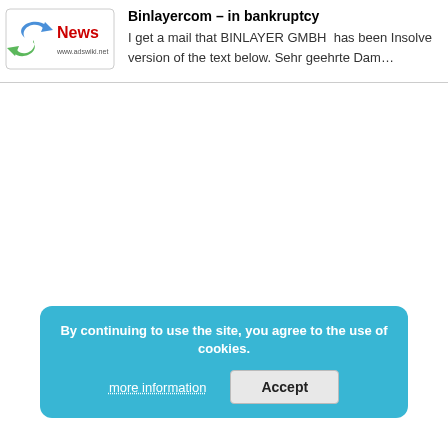[Figure (logo): adswiki.net News logo with blue arrow and green arrow icon, red 'News' text, and www.adswiki.net URL beneath]
Binlayercom – in bankruptcy
I get a mail that BINLAYER GMBH has been Insolve version of the text below. Sehr geehrte Dam…
By continuing to use the site, you agree to the use of cookies.
more information
Accept